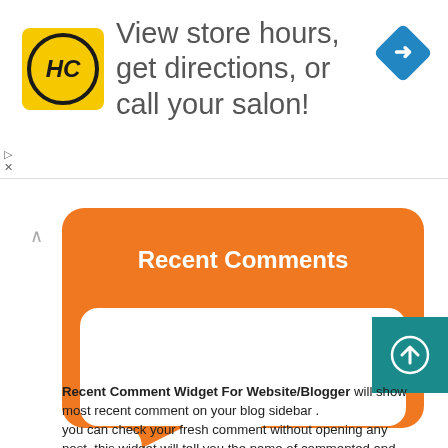[Figure (screenshot): Advertisement banner with HC salon logo, text 'View store hours, get directions, or call your salon!' and a blue directions icon]
[Figure (illustration): Orange speech bubble widget graphic with text 'Recent Comments Widget For Blogger By www.bloggerhints.com']
Recent Comment Widget For Website/Blogger will show most recent comment on your blog sidebar . you can check your fresh comment without opening any post .this widget will tell you the name of commented and show you the comment post . this widget will also make responsive your blogger .this is CSS co The comments will  gather in descending order with the newest